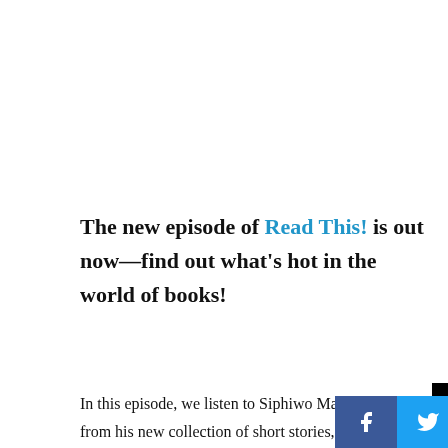The new episode of Read This! is out now—find out what's hot in the world of books!
In this episode, we listen to Siphiwo Mahala read from his new collection of short stories, Red Apple Dreams—an innovative compilation that
[Figure (logo): Read This! podcast logo — black background with 'Read' in red serif text and 'This!' in yellow serif text with a blue exclamation mark, and a white horizontal underline]